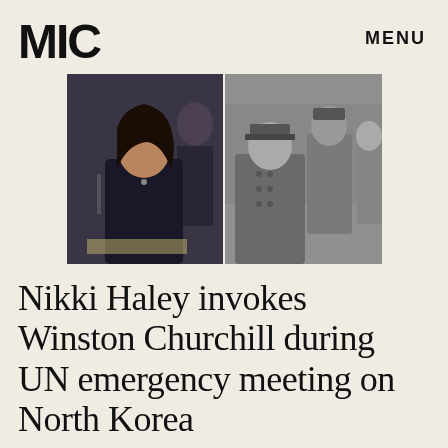MIC
MENU
[Figure (photo): Two side-by-side photos: on the left, Nikki Haley speaking at a UN meeting wearing dark clothing; on the right, a black-and-white photo of Winston Churchill in military uniform surrounded by other officials.]
Nikki Haley invokes Winston Churchill during UN emergency meeting on North Korea